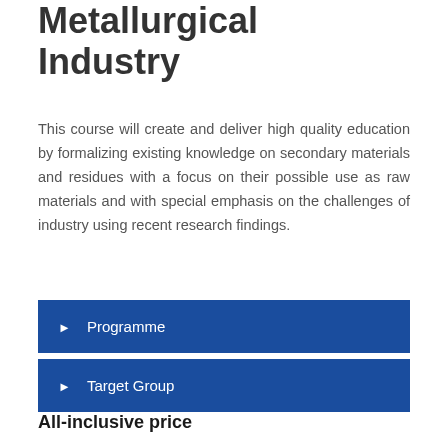Metallurgical Industry
This course will create and deliver high quality education by formalizing existing knowledge on secondary materials and residues with a focus on their possible use as raw materials and with special emphasis on the challenges of industry using recent research findings.
► Programme
► Target Group
All-inclusive price